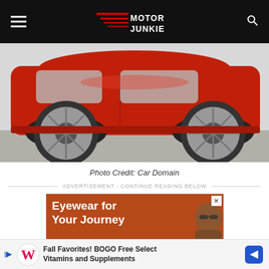Motor Junkie
[Figure (photo): Side profile of a red hatchback car (Suzuki Swift or similar) parked on a paved surface, showing both alloy wheels]
Photo Credit: Car Domain
ADVERTISEMENT - CONTINUE READING BELOW
[Figure (other): Advertisement banner: Eyewear for Your Journey - showing a person wearing sunglasses on a brown/red background]
Advertisement
Fall Favorites! BOGO Free Select Vitamins and Supplements